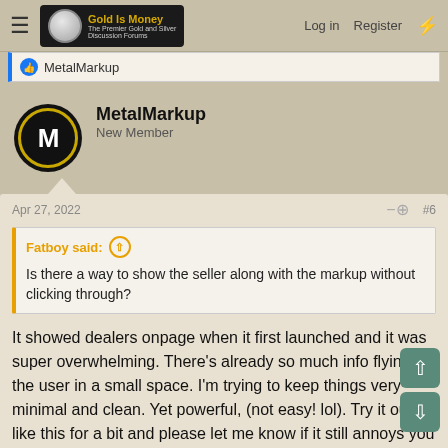Gold Is Money — The Premier Gold and Silver Discussion Forums | Log in | Register
👍 MetalMarkup
MetalMarkup
New Member
Apr 27, 2022   #6
Fatboy said: ↑

Is there a way to show the seller along with the markup without clicking through?
It showed dealers onpage when it first launched and it was super overwhelming. There's already so much info flying at the user in a small space. I'm trying to keep things very minimal and clean. Yet powerful, (not easy! lol). Try it out like this for a bit and please let me know if it still annoys you after a month or 2, ok?